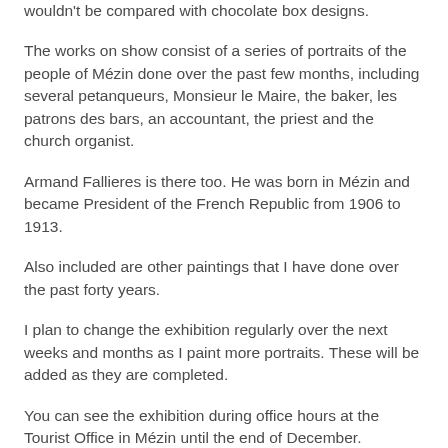wouldn't be compared with chocolate box designs.
The works on show consist of a series of portraits of the people of Mézin done over the past few months, including several petanqueurs, Monsieur le Maire, the baker, les patrons des bars, an accountant, the priest and the church organist.
Armand Fallieres is there too. He was born in Mézin and became President of the French Republic from 1906 to 1913.
Also included are other paintings that I have done over the past forty years.
I plan to change the exhibition regularly over the next weeks and months as I paint more portraits. These will be added as they are completed.
You can see the exhibition during office hours at the Tourist Office in Mézin until the end of December.